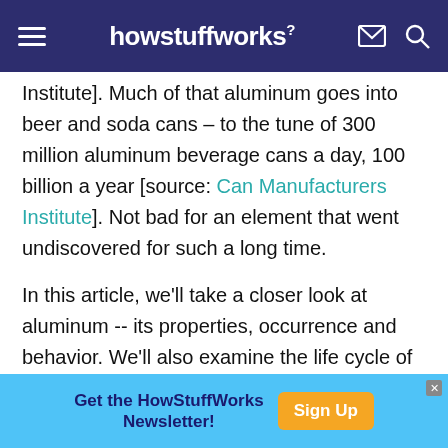howstuffworks
Institute]. Much of that aluminum goes into beer and soda cans – to the tune of 300 million aluminum beverage cans a day, 100 billion a year [source: Can Manufacturers Institute]. Not bad for an element that went undiscovered for such a long time.
In this article, we'll take a closer look at aluminum -- its properties, occurrence and behavior. We'll also examine the life cycle of aluminum, from its production using the Hall-Heroult process to its reincarnation after recycling. And, finally, we'll
[Figure (other): Advertisement banner: 'Get the HowStuffWorks Newsletter!' with a Sign Up button]